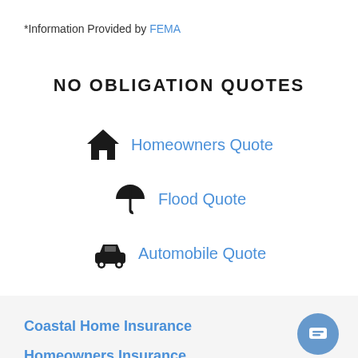*Information Provided by FEMA
NO OBLIGATION QUOTES
Homeowners Quote
Flood Quote
Automobile Quote
Coastal Home Insurance
Homeowners Insurance